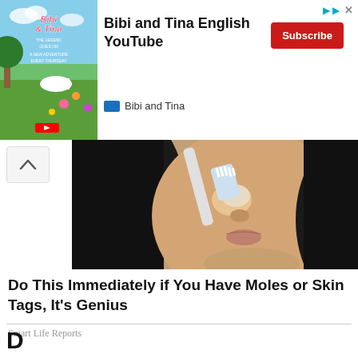[Figure (screenshot): YouTube advertisement banner for 'Bibi and Tina English YouTube' channel with Subscribe button, channel thumbnail showing animated characters on green background, and top-right close/skip icons]
[Figure (photo): Close-up photo of a woman with dark hair applying something to her nose/face area with a toothbrush, beige/tan background]
Do This Immediately if You Have Moles or Skin Tags, It's Genius
Smart Life Reports